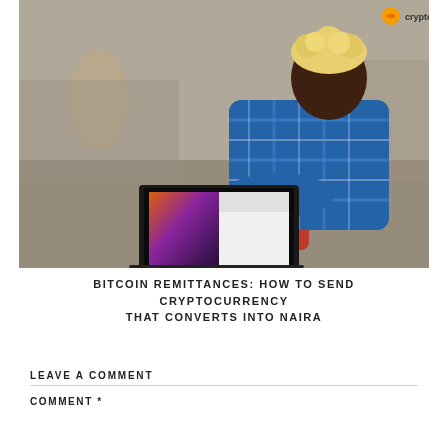[Figure (photo): A person with blonde curly hair wearing a blue plaid shirt sits on the floor working on a laptop with a colorful screen. Another person is visible in the background on a phone. A Cryptofully logo appears in the top right corner of the image.]
BITCOIN REMITTANCES: HOW TO SEND CRYPTOCURRENCY THAT CONVERTS INTO NAIRA
LEAVE A COMMENT
COMMENT *